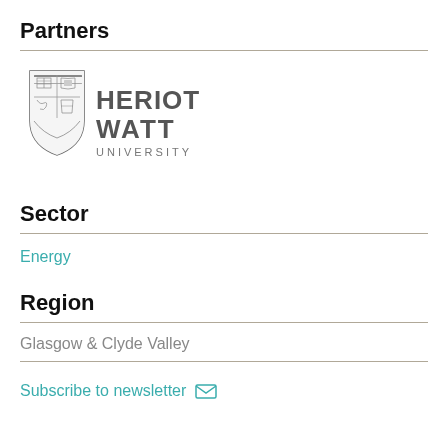Partners
[Figure (logo): Heriot-Watt University logo with shield crest and text 'HERIOT WATT UNIVERSITY']
Sector
Energy
Region
Glasgow & Clyde Valley
Subscribe to newsletter